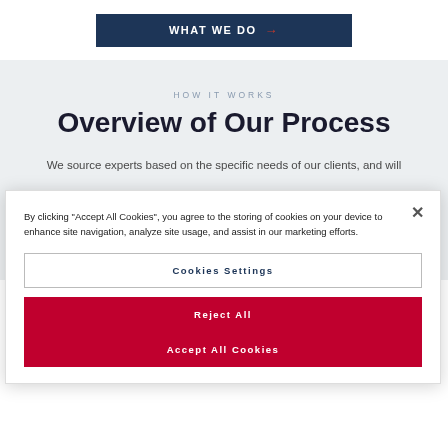[Figure (other): WHAT WE DO button with right arrow in dark navy blue background]
HOW IT WORKS
Overview of Our Process
We source experts based on the specific needs of our clients, and will
By clicking "Accept All Cookies", you agree to the storing of cookies on your device to enhance site navigation, analyze site usage, and assist in our marketing efforts.
Cookies Settings
Reject All
Accept All Cookies